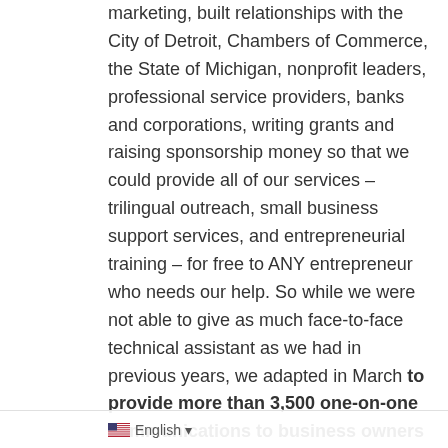marketing, built relationships with the City of Detroit, Chambers of Commerce, the State of Michigan, nonprofit leaders, professional service providers, banks and corporations, writing grants and raising sponsorship money so that we could provide all of our services – trilingual outreach, small business support services, and entrepreneurial training – for free to ANY entrepreneur who needs our help. So while we were not able to give as much face-to-face technical assistant as we had in previous years, we adapted in March to provide more than 3,500 one-on-one communications to business owners in 2020 for the SDBA, the West Vernor & Springwells Business Improvement District (BID), and the MI-Hispanic Contractors Association (MI-HCA.org). One of the unexpected surprises of the economic downturn…were the more than 35 aspiring
English ▾